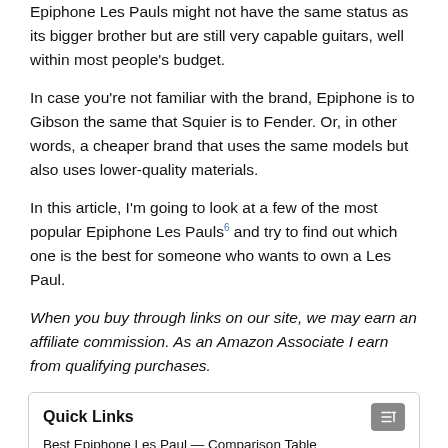Epiphone Les Pauls might not have the same status as its bigger brother but are still very capable guitars, well within most people's budget.
In case you're not familiar with the brand, Epiphone is to Gibson the same that Squier is to Fender. Or, in other words, a cheaper brand that uses the same models but also uses lower-quality materials.
In this article, I'm going to look at a few of the most popular Epiphone Les Pauls⁶ and try to find out which one is the best for someone who wants to own a Les Paul.
When you buy through links on our site, we may earn an affiliate commission. As an Amazon Associate I earn from qualifying purchases.
Quick Links
Best Epiphone Les Paul — Comparison Table
Best Epiphone Les Paul Review
1. Epiphone Les Paul Studio LT Electric Guitar — Best